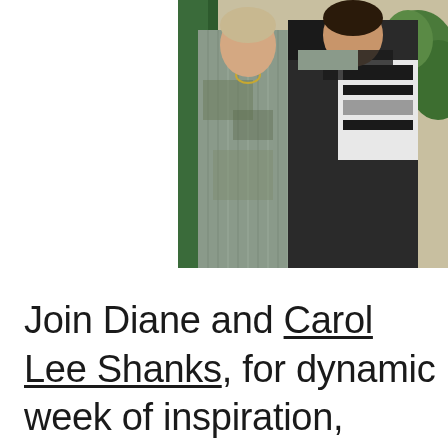[Figure (photo): Two women posing together indoors; one wearing a grey patterned jacket, the other in a black outfit holding a black and white patterned textile/scarf. Background shows green door and foliage.]
Join Diane and Carol Lee Shanks, for dynamic week of inspiration, lectures and one-on-one instruction in our adobe conference center studio. Deepen your design experience, and